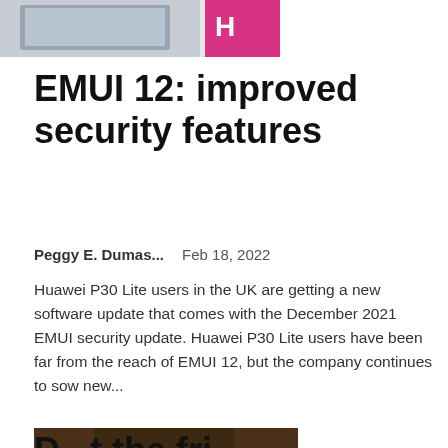[Figure (photo): Partial top image showing what appears to be a laptop/tablet with a pink/magenta branded screen, cropped at top]
EMUI 12: improved security features
Peggy E. Dumas...   Feb 18, 2022
Huawei P30 Lite users in the UK are getting a new software update that comes with the December 2021 EMUI security update. Huawei P30 Lite users have been far from the reach of EMUI 12, but the company continues to sow new...
[Figure (photo): Photo of a stainless steel refrigerator built into dark wood cabinetry in a kitchen]
D...t th... fri...